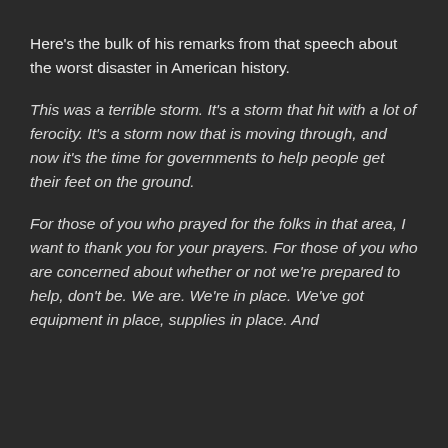Here's the bulk of his remarks from that speech about the worst disaster in American history.
This was a terrible storm. It's a storm that hit with a lot of ferocity. It's a storm now that is moving through, and now it's the time for governments to help people get their feet on the ground.
For those of you who prayed for the folks in that area, I want to thank you for your prayers. For those of you who are concerned about whether or not we're prepared to help, don't be. We are. We're in place. We've got equipment in place, supplies in place. And